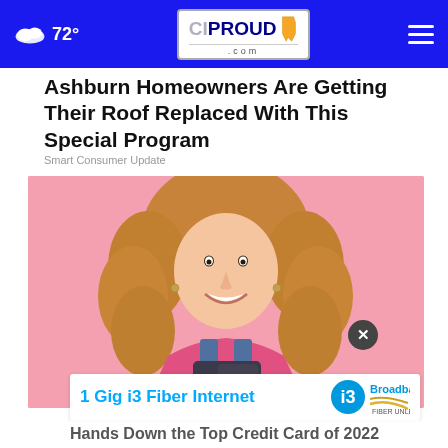72° CIProud.com
Ashburn Homeowners Are Getting Their Roof Replaced With This Special Program
Smart Consumer Update
[Figure (photo): Smiling young woman with curly hair holding a credit card against a pink background]
1 Gig i3 Fiber Internet — i3 Broadband FIBER UNLEASHED
Hands Down the Top Credit Card of 2022